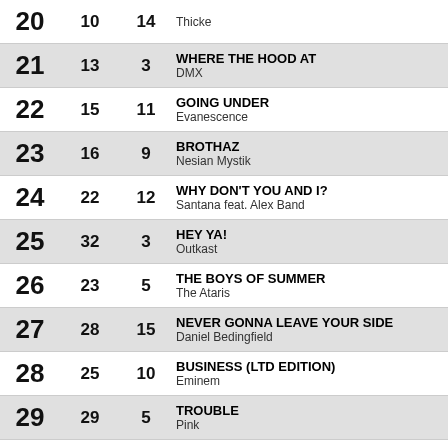| # | Last | Wks | Title / Artist |
| --- | --- | --- | --- |
| 20 | 10 | 14 | WHERE THE HOOD AT
DMX (partial top) |
| 21 | 13 | 3 | WHERE THE HOOD AT
DMX |
| 22 | 15 | 11 | GOING UNDER
Evanescence |
| 23 | 16 | 9 | BROTHAZ
Nesian Mystik |
| 24 | 22 | 12 | WHY DON'T YOU AND I?
Santana feat. Alex Band |
| 25 | 32 | 3 | HEY YA!
Outkast |
| 26 | 23 | 5 | THE BOYS OF SUMMER
The Ataris |
| 27 | 28 | 15 | NEVER GONNA LEAVE YOUR SIDE
Daniel Bedingfield |
| 28 | 25 | 10 | BUSINESS (LTD EDITION)
Eminem |
| 29 | 29 | 5 | TROUBLE
Pink |
| 30 | 24 | 24 | UNWELL
Matchbox 20 |